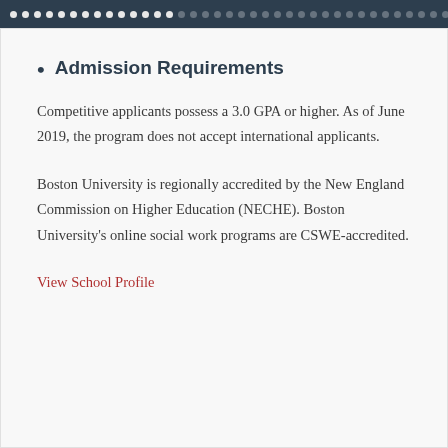• • • • • • • • • • • • • • • • • • • • • • • • • • • • • • • •
Admission Requirements
Competitive applicants possess a 3.0 GPA or higher. As of June 2019, the program does not accept international applicants.
Boston University is regionally accredited by the New England Commission on Higher Education (NECHE). Boston University's online social work programs are CSWE-accredited.
View School Profile